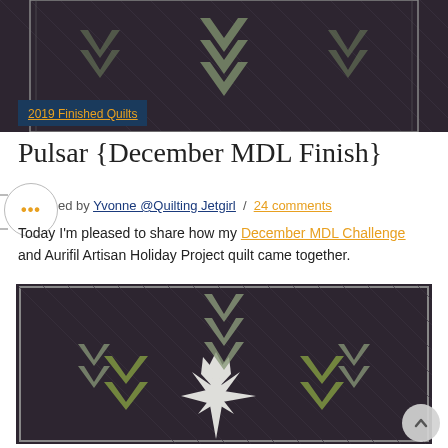[Figure (photo): Partial view of a dark quilted throw/wall hanging with a geometric pattern visible at top — chevron/arrow shapes in gray-green on dark charcoal background]
2019 Finished Quilts
Pulsar {December MDL Finish}
ed by Yvonne @Quilting Jetgirl / 24 comments
Today I'm pleased to share how my December MDL Challenge and Aurifil Artisan Holiday Project quilt came together.
[Figure (photo): Dark charcoal quilt featuring a large central Lone Star / snowflake design in white with surrounding chevron arrow motifs in green and gray-green tones on dark background. Diagonal quilting lines visible throughout.]